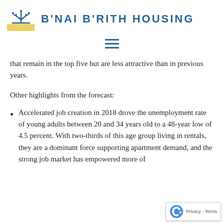[Figure (logo): B'Nai B'Rith Housing logo with menorah symbol and yellow/blue design, followed by organization name in blue bold text]
[Figure (other): Hamburger menu icon (three horizontal blue lines)]
that remain in the top five but are less attractive than in previous years.
Other highlights from the forecast:
Accelerated job creation in 2018 drove the unemployment rate of young adults between 20 and 34 years old to a 48-year low of 4.5 percent. With two-thirds of this age group living in rentals, they are a dominant force supporting apartment demand, and the strong job market has empowered more of